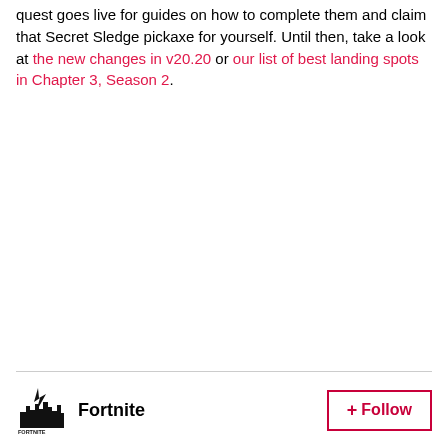quest goes live for guides on how to complete them and claim that Secret Sledge pickaxe for yourself. Until then, take a look at the new changes in v20.20 or our list of best landing spots in Chapter 3, Season 2.
Fortnite + Follow